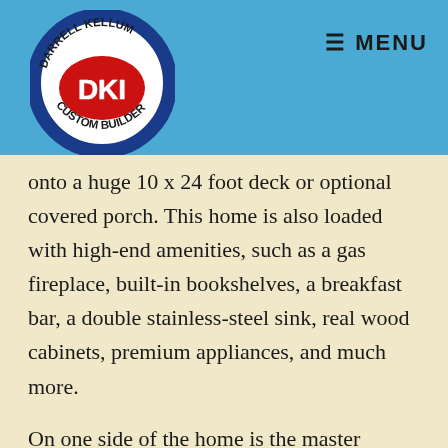[Figure (logo): Darrell Kellum DKI Custom Builder oval logo with red DKI letters in center]
≡ MENU
onto a huge 10 x 24 foot deck or optional covered porch. This home is also loaded with high-end amenities, such as a gas fireplace, built-in bookshelves, a breakfast bar, a double stainless-steel sink, real wood cabinets, premium appliances, and much more.
On one side of the home is the master bedroom with a large walk-in closet and a private bath that includes a double sink, large sit-down shower, and a classic claw foot tub. Next to the